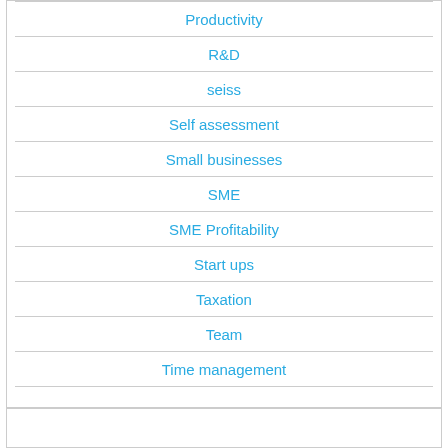Productivity
R&D
seiss
Self assessment
Small businesses
SME
SME Profitability
Start ups
Taxation
Team
Time management